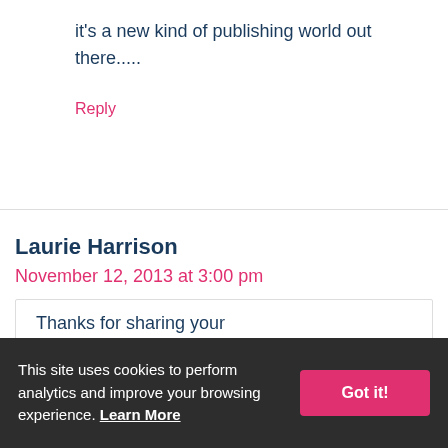it's a new kind of publishing world out there.....
Reply
Laurie Harrison
November 12, 2013 at 3:00 pm
Thanks for sharing your experience with EnglishCentral
This site uses cookies to perform analytics and improve your browsing experience. Learn More Got it!